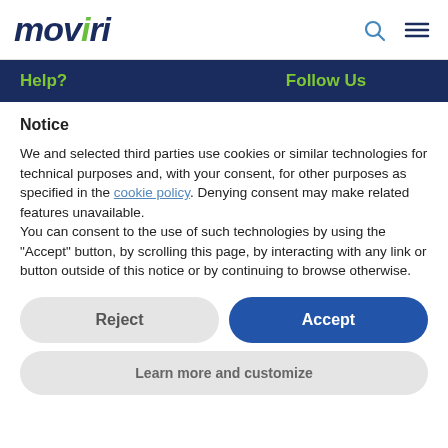moviri
Help?   Follow Us
Notice
We and selected third parties use cookies or similar technologies for technical purposes and, with your consent, for other purposes as specified in the cookie policy. Denying consent may make related features unavailable.
You can consent to the use of such technologies by using the “Accept” button, by scrolling this page, by interacting with any link or button outside of this notice or by continuing to browse otherwise.
Reject
Accept
Learn more and customize